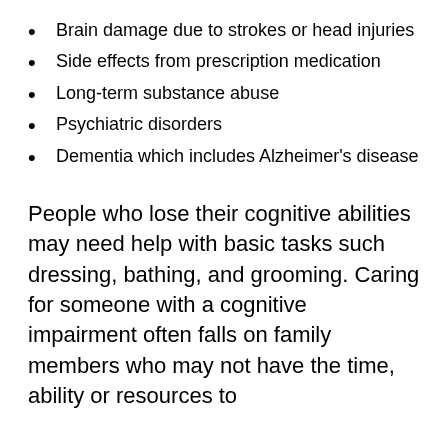Brain damage due to strokes or head injuries
Side effects from prescription medication
Long-term substance abuse
Psychiatric disorders
Dementia which includes Alzheimer's disease
People who lose their cognitive abilities may need help with basic tasks such dressing, bathing, and grooming. Caring for someone with a cognitive impairment often falls on family members who may not have the time, ability or resources to